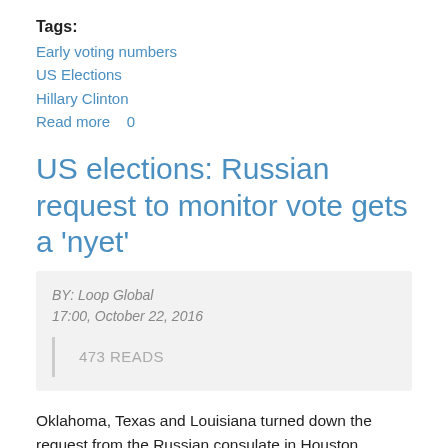Tags: Early voting numbers US Elections Hillary Clinton Read more 0
US elections: Russian request to monitor vote gets a 'nyet'
BY: Loop Global
17:00, October 22, 2016
473 READS
Oklahoma, Texas and Louisiana turned down the request from the Russian consulate in Houston. Louisiana Secretary of State Tom Schedler wrote that recent flooding had left his office extremely short-staffed trying to deal with the damage and